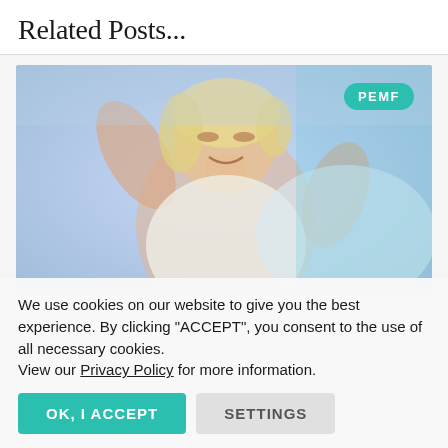Related Posts...
[Figure (photo): A woman smiling and stretching in bed, waking up happily. A PEMF badge appears in the top-right corner of the image.]
We use cookies on our website to give you the best experience. By clicking “ACCEPT”, you consent to the use of all necessary cookies.
View our Privacy Policy for more information.
OK, I ACCEPT
SETTINGS